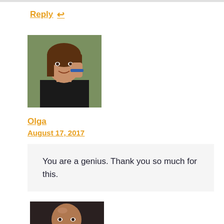Reply ↩
[Figure (photo): Profile photo of Olga, a woman with long brown hair, smiling, wearing a black top, touching her face with her hand]
Olga
August 17, 2017
You are a genius. Thank you so much for this.
[Figure (photo): Profile photo of a bald man with a beard, looking slightly to the side, wearing a dark top, partial view]